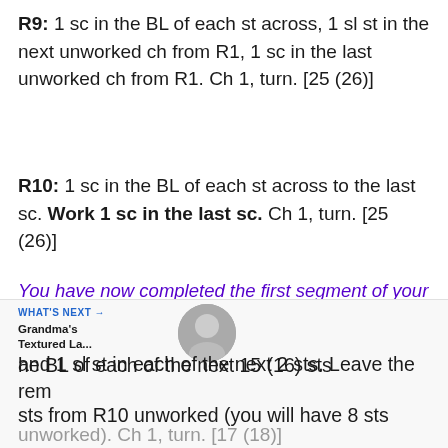R9: 1 sc in the BL of each st across, 1 sl st in the next unworked ch from R1, 1 sc in the last unworked ch from R1. Ch 1, turn. [25 (26)]
R10: 1 sc in the BL of each st across to the last sc. Work 1 sc in the last sc. Ch 1, turn. [25 (26)]
You have now completed the first segment of your h... The remaining 4 segments are worked in the very same manner.
Segment 2
he BL of each of the next 15 (16) sts and 1 sl st in each of the next 2 sts. Leave the rem sts from R10 unworked (you will have 8 sts unworked). Ch 1, turn. [17 (18)]